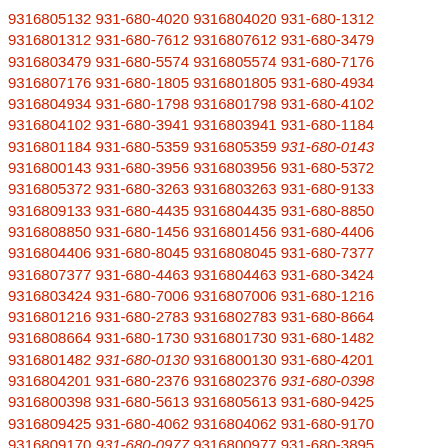9316805132 931-680-4020 9316804020 931-680-1312 9316801312 931-680-7612 9316807612 931-680-3479 9316803479 931-680-5574 9316805574 931-680-7176 9316807176 931-680-1805 9316801805 931-680-4934 9316804934 931-680-1798 9316801798 931-680-4102 9316804102 931-680-3941 9316803941 931-680-1184 9316801184 931-680-5359 9316805359 931-680-0143 9316800143 931-680-3956 9316803956 931-680-5372 9316805372 931-680-3263 9316803263 931-680-9133 9316809133 931-680-4435 9316804435 931-680-8850 9316808850 931-680-1456 9316801456 931-680-4406 9316804406 931-680-8045 9316808045 931-680-7377 9316807377 931-680-4463 9316804463 931-680-3424 9316803424 931-680-7006 9316807006 931-680-1216 9316801216 931-680-2783 9316802783 931-680-8664 9316808664 931-680-1730 9316801730 931-680-1482 9316801482 931-680-0130 9316800130 931-680-4201 9316804201 931-680-2376 9316802376 931-680-0398 9316800398 931-680-5613 9316805613 931-680-9425 9316809425 931-680-4062 9316804062 931-680-9170 9316809170 931-680-0977 9316800977 931-680-3895 9316803895 931-680-6316 9316806316 931-680-1384 9316801384 931-680-3563 9316803563 931-680-9686 9316809686 931-680-6768 9316806768 931-680-7383 9316807383 931-680-6968 9316806968 931-680-8136